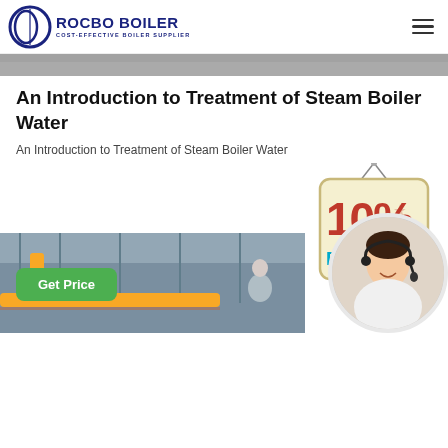ROCBO BOILER COST-EFFECTIVE BOILER SUPPLIER
[Figure (photo): Top banner image showing industrial boiler equipment]
An Introduction to Treatment of Steam Boiler Water
An Introduction to Treatment of Steam Boiler Water
[Figure (illustration): 10% DISCOUNT hanging sign badge]
[Figure (photo): Customer support representative with headset smiling]
[Figure (photo): Industrial boiler room with yellow pipes]
Get Price